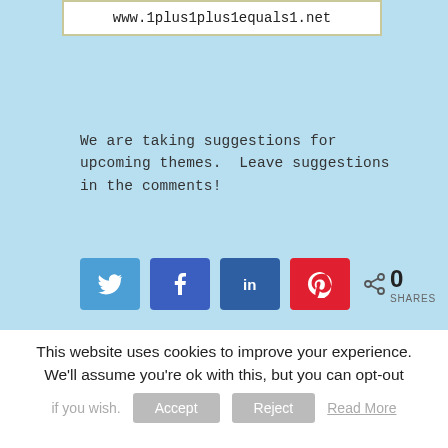www.1plus1plus1equals1.net
We are taking suggestions for upcoming themes. Leave suggestions in the comments!
[Figure (other): Social share buttons: Twitter (blue), Facebook (blue), LinkedIn (dark blue), Pinterest (red), and a share count showing 0 SHARES]
This website uses cookies to improve your experience. We'll assume you're ok with this, but you can opt-out if you wish. Accept Reject Read More